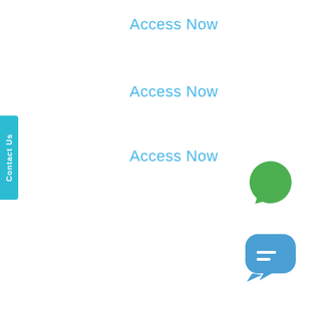Access Now
Access Now
Access Now
Contact Us
[Figure (illustration): WhatsApp icon - green circle with white phone handset]
[Figure (illustration): Chat bubble icon - blue rounded square with white speech bubble containing equals/chat symbol]